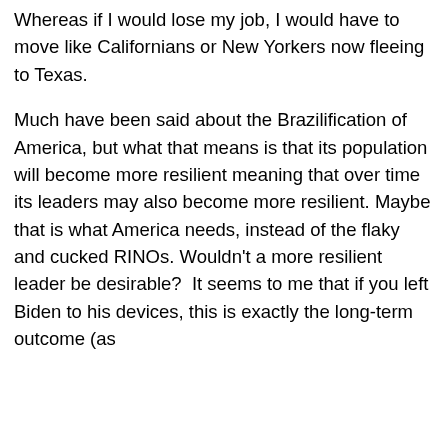Whereas if I would lose my job, I would have to move like Californians or New Yorkers now fleeing to Texas.
Much have been said about the Brazilification of America, but what that means is that its population will become more resilient meaning that over time its leaders may also become more resilient. Maybe that is what America needs, instead of the flaky and cucked RINOs. Wouldn't a more resilient leader be desirable?  It seems to me that if you left Biden to his devices, this is exactly the long-term outcome (as